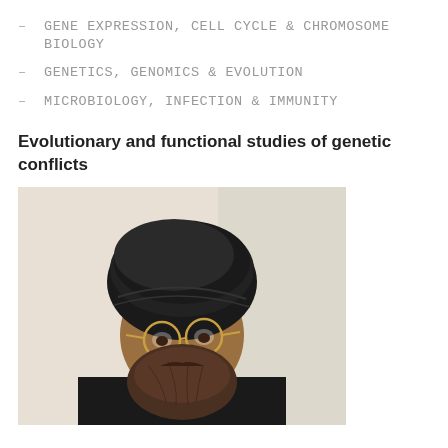GENE EXPRESSION, CELL CYCLE & CHROMOSOME BIOLOGY
GENETICS, GENOMICS & EVOLUTION
MICROBIOLOGY, INFECTION & IMMUNITY
Evolutionary and functional studies of genetic conflicts
[Figure (photo): Portrait photo of a man wearing a black turban and gold-rimmed round glasses, with a beard, dressed in black, smiling slightly, photographed against a light background.]